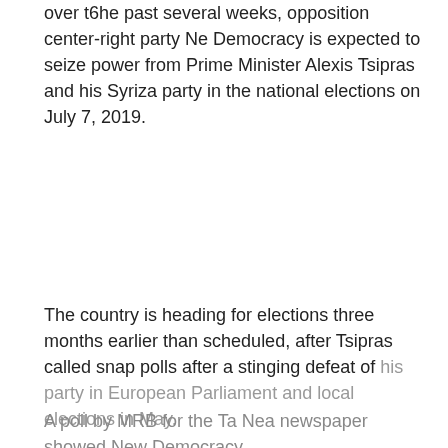over t6he past several weeks, opposition center-right party Ne Democracy is expected to seize power from Prime Minister Alexis Tsipras and his Syriza party in the national elections on July 7, 2019.
The country is heading for elections three months earlier than scheduled, after Tsipras called snap polls after a stinging defeat of his party in European Parliament and local elections in May.
A poll by MRB for the Ta Nea newspaper showed New Democracy